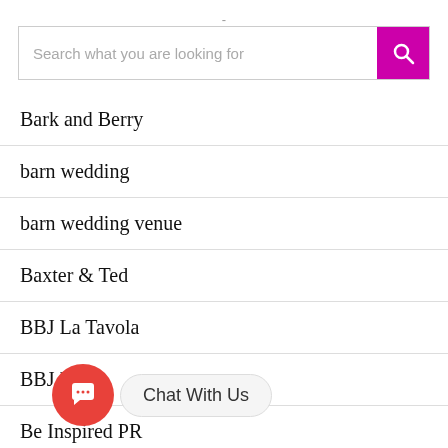-
Search what you are looking for
Bark and Berry
barn wedding
barn wedding venue
Baxter & Ted
BBJ La Tavola
BBJ Linen
Be Inspired PR
Be Lounge
be...
beach bride
Chat With Us